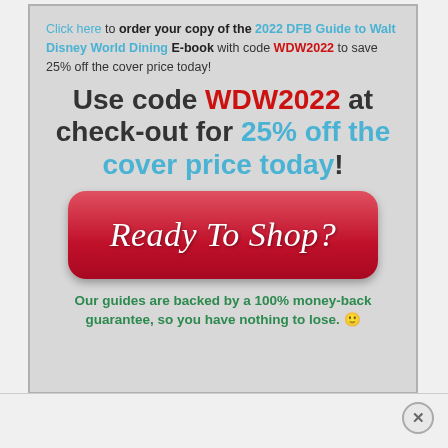Click here to order your copy of the 2022 DFB Guide to Walt Disney World Dining E-book with code WDW2022 to save 25% off the cover price today!
Use code WDW2022 at check-out for 25% off the cover price today!
[Figure (other): Red pill-shaped button with white italic script text reading 'Ready To Shop?']
Our guides are backed by a 100% money-back guarantee, so you have nothing to lose. 🙂